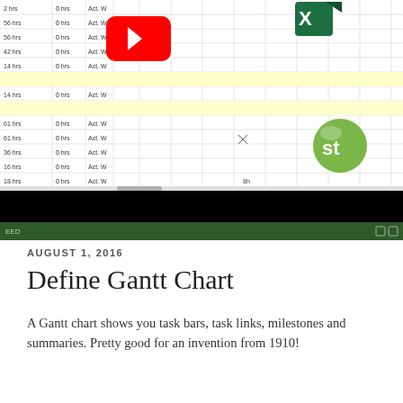[Figure (screenshot): Screenshot of a spreadsheet Gantt chart application showing task rows with hours and columns, overlaid with a YouTube play button logo, a Microsoft Excel logo, and a Smartsheet 'st' logo. Below the spreadsheet area is a dark taskbar and a black video area.]
AUGUST 1, 2016
Define Gantt Chart
A Gantt chart shows you task bars, task links, milestones and summaries. Pretty good for an invention from 1910!